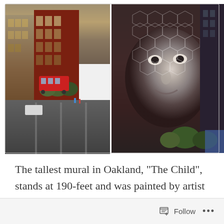[Figure (photo): Aerial/elevated photograph split into two panels: left panel shows a city street intersection in Oakland with buildings, a red bus, and urban street scene; right panel shows a close-up of a large mural 'The Child' with a face rendered in white and grey tones with hexagonal/mesh pattern overlay against a dark building facade.]
The tallest mural in Oakland, "The Child", stands at 190-feet and was painted by artist Victor Ash in the heart of The Town on the side of the 21 story Oakland Marriott City Center. – the site of our 2022 conference. The monumental painting, realized in 9 days in early 2021, is the third of six #ZeroHungerMurals in support of the United Nation World Food Programme's Zero Hunger
Follow ...